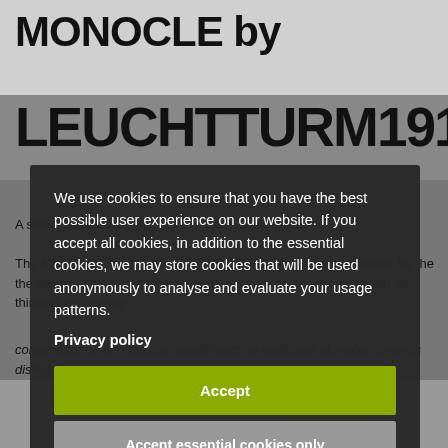MONOCLE by
LEUCHTTURM1917
A sleek, well-crafted object for sophisticated tastes.
The MONOCLE by LEUCHTTURM1917 is the perfect notebook for the design-driven, high-quality products and the common passion for thinking and writing
We use cookies to ensure that you have the best possible user experience on our website. If you accept all cookies, in addition to the essential cookies, we may store cookies that will be used anonymously to analyse and evaluate your usage patterns.
Privacy policy
Accept
Accept essential cookies only
Settings
colour scheme and special details such as exclusive Monocle contents distinguish its products. Learn more.